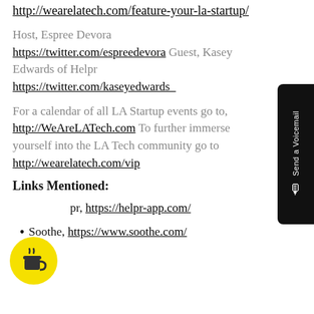To be featured on this podcast go to http://wearelatech.com/feature-your-la-startup/
Host, Espree Devora https://twitter.com/espreedevora Guest, Kasey Edwards of Helpr https://twitter.com/kaseyedwards_
For a calendar of all LA Startup events go to, http://WeAreLATech.com To further immerse yourself into the LA Tech community go to http://wearelatech.com/vip
Links Mentioned:
Helpr, https://helpr-app.com/
Soothe, https://www.soothe.com/